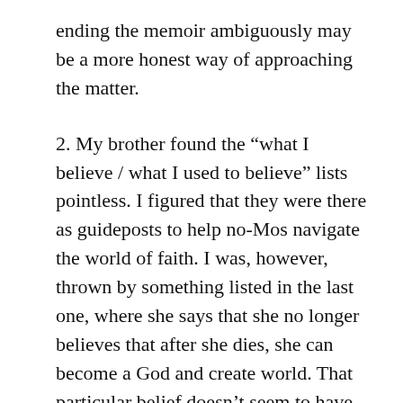ending the memoir ambiguously may be a more honest way of approaching the matter.
2. My brother found the “what I believe / what I used to believe” lists pointless. I figured that they were there as guideposts to help no-Mos navigate the world of faith. I was, however, thrown by something listed in the last one, where she says that she no longer believes that after she dies, she can become a God and create world. That particular belief doesn’t seem to have much to do with the story she’s telling in her memoir, but it is a fairly central tenet of Mormonism, so I was surprised to see her toss it out without any explanation. (I.e., what made her change her mind about that and what else